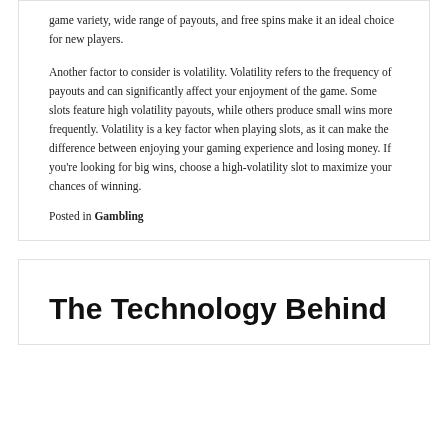game variety, wide range of payouts, and free spins make it an ideal choice for new players.
Another factor to consider is volatility. Volatility refers to the frequency of payouts and can significantly affect your enjoyment of the game. Some slots feature high volatility payouts, while others produce small wins more frequently. Volatility is a key factor when playing slots, as it can make the difference between enjoying your gaming experience and losing money. If you're looking for big wins, choose a high-volatility slot to maximize your chances of winning.
Posted in Gambling
The Technology Behind